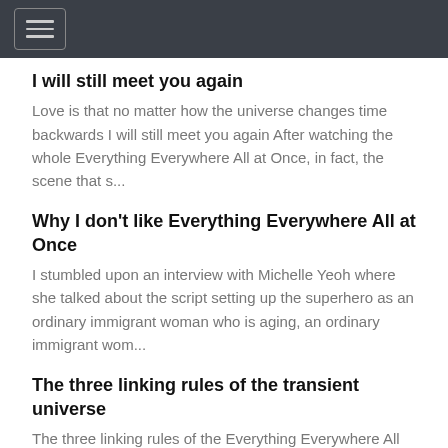[Navigation menu header with hamburger icon]
I will still meet you again
Love is that no matter how the universe changes time backwards I will still meet you again After watching the whole Everything Everywhere All at Once, in fact, the scene that s...
Why I don't like Everything Everywhere All at Once
I stumbled upon an interview with Michelle Yeoh where she talked about the script setting up the superhero as an ordinary immigrant woman who is aging, an ordinary immigrant wom...
The three linking rules of the transient universe
The three linking rules of the Everything Everywhere All at Once Underneath the pie-in-the-sky and all kinds of extreme bad taste, there is a hidden thread...